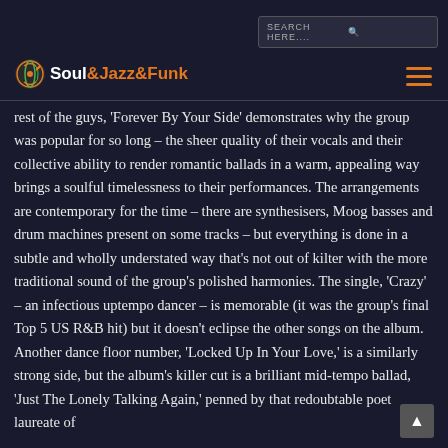SEARCH HERE....
[Figure (logo): Soul&Jazz&Funk logo with music note icon]
rest of the guys, 'Forever By Your Side' demonstrates why the group was popular for so long – the sheer quality of their vocals and their collective ability to render romantic ballads in a warm, appealing way brings a soulful timelessness to their performances. The arrangements are contemporary for the time – there are synthesisers, Moog basses and drum machines present on some tracks – but everything is done in a subtle and wholly understated way that's not out of kilter with the more traditional sound of the group's polished harmonies. The single, 'Crazy' – an infectious uptempo dancer – is memorable (it was the group's final Top 5 US R&B hit) but it doesn't eclipse the other songs on the album. Another dance floor number, 'Locked Up In Your Love,' is a similarly strong side, but the album's killer cut is a brilliant mid-tempo ballad, 'Just The Lonely Talking Again,' penned by that redoubtable poet laureate of